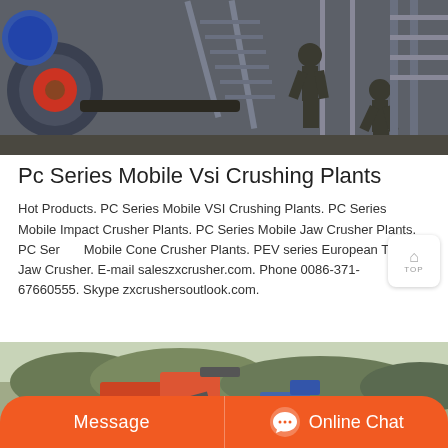[Figure (photo): Industrial facility interior showing heavy machinery (crusher equipment) with workers on stairs/walkway, dark industrial setting]
Pc Series Mobile Vsi Crushing Plants
Hot Products. PC Series Mobile VSI Crushing Plants. PC Series Mobile Impact Crusher Plants. PC Series Mobile Jaw Crusher Plants. PC Series Mobile Cone Crusher Plants. PEV series European Type Jaw Crusher. E-mail saleszxcrusher.com. Phone 0086-371-67660555. Skype zxcrushersoutlook.com.
[Figure (photo): Outdoor scene showing mobile crushing plant equipment with trees/hills in background; includes a woman with headset in foreground (customer service representative)]